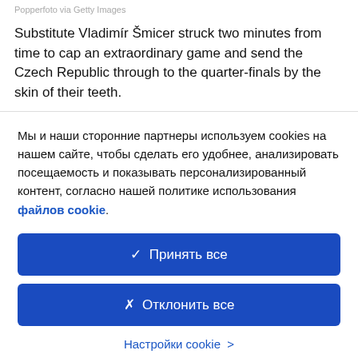Popperfoto via Getty Images
Substitute Vladimír Šmicer struck two minutes from time to cap an extraordinary game and send the Czech Republic through to the quarter-finals by the skin of their teeth.
Мы и наши сторонние партнеры используем cookies на нашем сайте, чтобы сделать его удобнее, анализировать посещаемость и показывать персонализированный контент, согласно нашей политике использования файлов cookie.
✓  Принять все
✗  Отклонить все
Настройки cookie  >